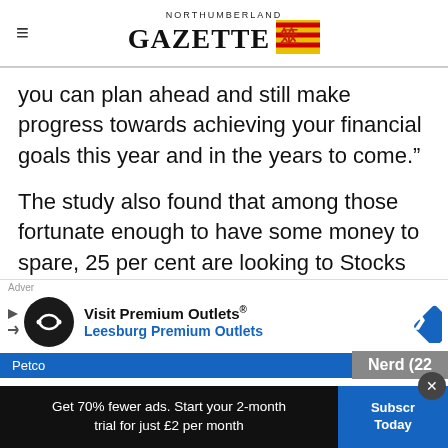NORTHUMBERLAND GAZETTE
you can plan ahead and still make progress towards achieving your financial goals this year and in the years to come.”
The study also found that among those fortunate enough to have some money to spare, 25 per cent are looking to Stocks and Shares ISAs to grow their money.
[Figure (screenshot): Advertisement banner showing 'Visit Premium Outlets® Leesburg Premium Outlets' with circular logo and blue diamond icon]
[Figure (screenshot): Bottom subscription bar: 'Get 70% fewer ads. Start your 2-month trial for just £2 per month' with 'Subscribe Today' button]